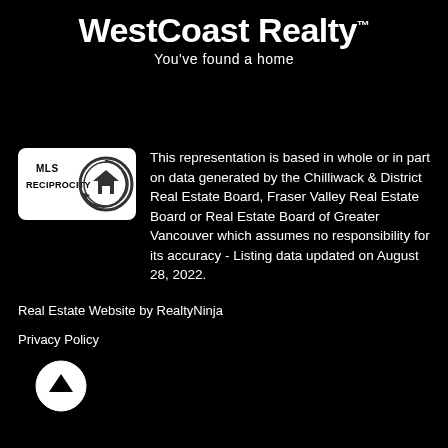WestCoast Realty™
You've found a home
[Figure (logo): MLS Reciprocity logo: white rounded rectangle with text 'MLS RECIPROCITY' and a circular house icon]
This representation is based in whole or in part on data generated by the Chilliwack & District Real Estate Board, Fraser Valley Real Estate Board or Real Estate Board of Greater Vancouver which assumes no responsibility for its accuracy - Listing data updated on August 28, 2022.
Real Estate Website by RealtyNinja
Privacy Policy
[Figure (illustration): White circular button with upward-pointing arrow icon]